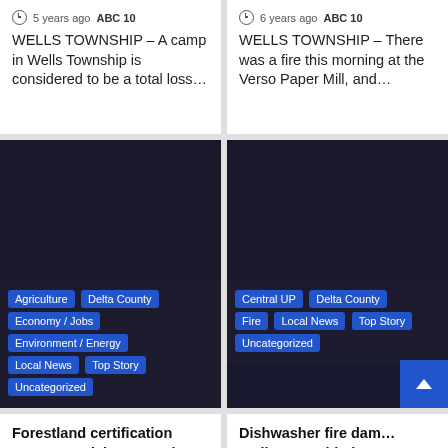5 years ago  ABC 10
WELLS TOWNSHIP – A camp in Wells Township is considered to be a total loss…
6 years ago  ABC 10
WELLS TOWNSHIP – There was a fire this morning at the Verso Paper Mill, and…
[Figure (photo): Dark image with tags: Agriculture, Delta County, Economy / Jobs, Environment / Energy, Local News, Top Story, Uncategorized]
[Figure (photo): Dark image with tags: Central UP, Delta County, Fire, Local News, Top Story, Uncategorized]
Forestland certification program celebrates 20th birthday
Dishwasher fire dam… Wells Township hom…
8 years ago  ABC 10